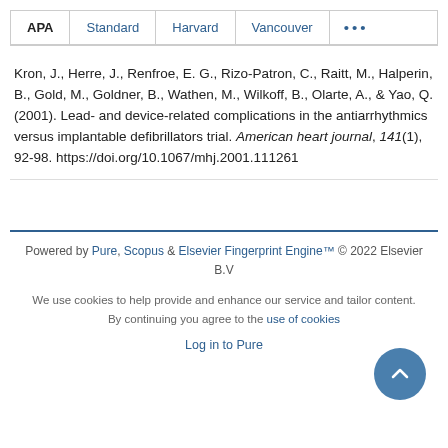APA | Standard | Harvard | Vancouver | ...
Kron, J., Herre, J., Renfroe, E. G., Rizo-Patron, C., Raitt, M., Halperin, B., Gold, M., Goldner, B., Wathen, M., Wilkoff, B., Olarte, A., & Yao, Q. (2001). Lead- and device-related complications in the antiarrhythmics versus implantable defibrillators trial. American heart journal, 141(1), 92-98. https://doi.org/10.1067/mhj.2001.111261
Powered by Pure, Scopus & Elsevier Fingerprint Engine™ © 2022 Elsevier B.V
We use cookies to help provide and enhance our service and tailor content. By continuing you agree to the use of cookies
Log in to Pure